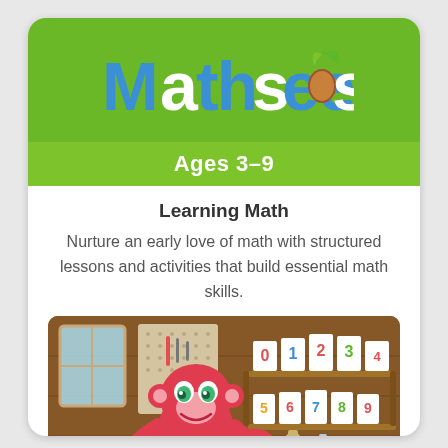[Figure (logo): Mathseeds logo with colorful lettering and a sprouting seed/leaf graphic on a green background]
Ages 3–9
Learning Math
Nurture an early love of math with structured lessons and activities that build essential math skills.
[Figure (illustration): Cartoon illustration of a pink monkey character in a workshop/store room with number cards on shelves, yellow rubber ducks, and a colorful lollipop]